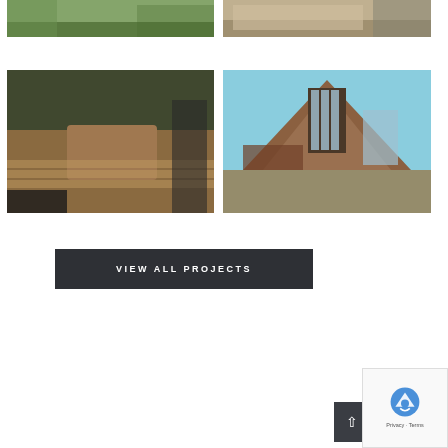[Figure (photo): Green lawn and landscaping view from above]
[Figure (photo): House construction or concrete foundation area]
[Figure (photo): Wooden deck with hot tub and railing]
[Figure (photo): A-frame style house with stone facade and large windows]
VIEW ALL PROJECTS
[Figure (other): Scroll to top button with upward arrow]
[Figure (other): reCAPTCHA badge with Privacy and Terms links]